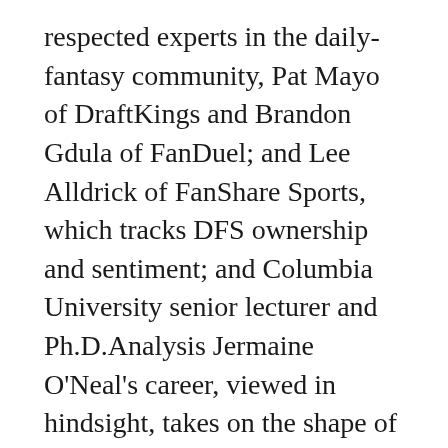respected experts in the daily-fantasy community, Pat Mayo of DraftKings and Brandon Gdula of FanDuel; and Lee Alldrick of FanShare Sports, which tracks DFS ownership and sentiment; and Columbia University senior lecturer and Ph.D.Analysis Jermaine O'Neal's career, viewed in hindsight, takes on the shape of a slasher film.Then he started to get hurt all the time.
Rodgers has guided the Packers to the post-season in each of the last six seasons, including a victory in Super Bowl XLV custom baseball jerseys cheap which he was named MVP.Real back issues seem to be one of the injuries that often plague a person for the